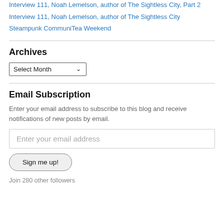Interview 111, Noah Lemelson, author of The Sightless City, Part 2
Interview 111, Noah Lemelson, author of The Sightless City
Steampunk CommuniTea Weekend
Archives
Select Month
Email Subscription
Enter your email address to subscribe to this blog and receive notifications of new posts by email.
Enter your email address
Sign me up!
Join 280 other followers